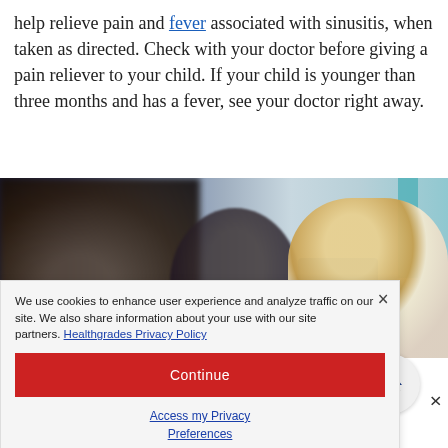help relieve pain and fever associated with sinusitis, when taken as directed. Check with your doctor before giving a pain reliever to your child. If your child is younger than three months and has a fever, see your doctor right away.
[Figure (photo): Photo of people on a transit vehicle/bus, showing blurry figures in background and a blonde woman on the right side]
We use cookies to enhance user experience and analyze traffic on our site. We also share information about your use with our site partners. Healthgrades Privacy Policy
Continue
Access my Privacy Preferences
4. Fatigue